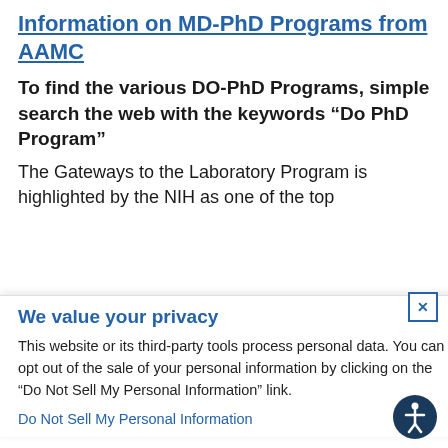Information on MD-PhD Programs from AAMC
To find the various DO-PhD Programs, simple search the web with the keywords “Do PhD Program”
The Gateways to the Laboratory Program is highlighted by the NIH as one of the top
We value your privacy
This website or its third-party tools process personal data. You can opt out of the sale of your personal information by clicking on the “Do Not Sell My Personal Information” link.
Do Not Sell My Personal Information